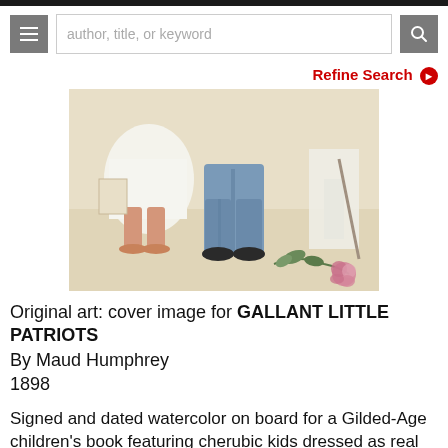author, title, or keyword
Refine Search
[Figure (illustration): Watercolor painting showing the lower bodies of children in period clothing — a girl in a white dress and sandals on the left, a boy in blue denim pants and black shoes in the center, and another figure in white on the right. A fallen flower stem with pink roses and green leaves lies on the ground at lower right.]
Original art: cover image for GALLANT LITTLE PATRIOTS
By Maud Humphrey
1898
Signed and dated watercolor on board for a Gilded-Age children's book featuring cherubic kids dressed as real American heroes and heroines.